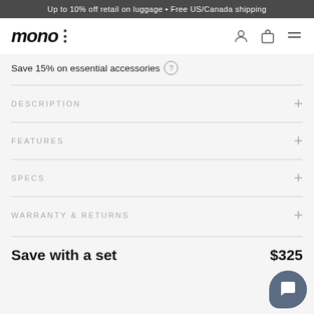Up to 10% off retail on luggage • Free US/Canada shipping
[Figure (logo): MONO logo with italic bold text and vertical dots menu, plus user, cart, and hamburger icons on right]
Save 15% on essential accessories
DESCRIPTION
FEATURES
SPECS
WARRANTY & RETURNS
Save with a set
$325